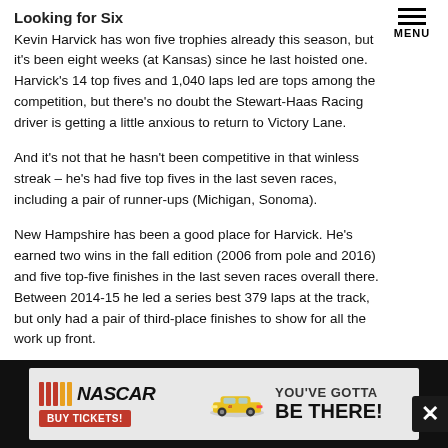MENU
Looking for Six
Kevin Harvick has won five trophies already this season, but it's been eight weeks (at Kansas) since he last hoisted one. Harvick's 14 top fives and 1,040 laps led are tops among the competition, but there's no doubt the Stewart-Haas Racing driver is getting a little anxious to return to Victory Lane.
And it's not that he hasn't been competitive in that winless streak – he's had five top fives in the last seven races, including a pair of runner-ups (Michigan, Sonoma).
New Hampshire has been a good place for Harvick. He's earned two wins in the fall edition (2006 from pole and 2016) and five top-five finishes in the last seven races overall there. Between 2014-15 he led a series best 379 laps at the track, but only had a pair of third-place finishes to show for all the work up front.
[Figure (infographic): NASCAR advertisement banner: NASCAR logo with stripes, BUY TICKETS button, car image, text YOU'VE GOTTA BE THERE!]